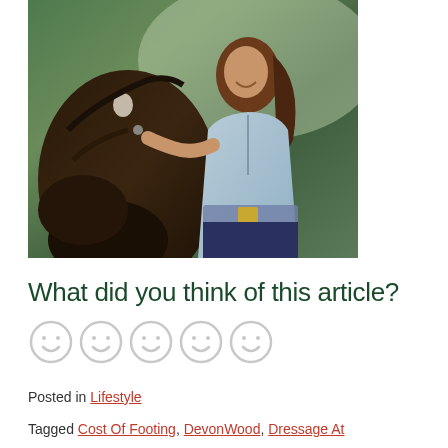[Figure (photo): A woman with long dark curly hair wearing a light blue quarter-zip top and patterned belt smiles while standing next to a dark brown horse with a white star on its forehead, outdoors with green foliage in the background.]
What did you think of this article?
[Figure (infographic): Five grey smiley face emoji icons in a row, representing a rating scale.]
Posted in Lifestyle
Tagged Cost Of Footing, DevonWood, Dressage At